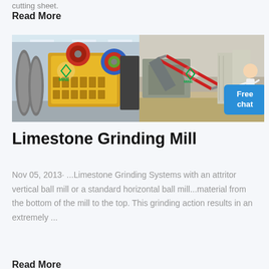cutting sheet.
Read More
[Figure (photo): Two industrial mining/grinding machine photos side by side: left shows a large yellow jaw crusher in a factory, right shows a mining conveyor belt plant outdoors with a woman figure and Free chat button overlay]
Limestone Grinding Mill
Nov 05, 2013· ...Limestone Grinding Systems with an attritor vertical ball mill or a standard horizontal ball mill...material from the bottom of the mill to the top. This grinding action results in an extremely ...
Read More